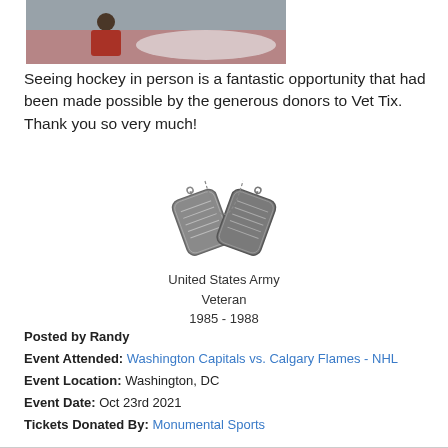[Figure (photo): A man in a red plaid shirt standing in front of a hockey arena crowd and rink]
Seeing hockey in person is a fantastic opportunity that had been made possible by the generous donors to Vet Tix. Thank you so very much!
[Figure (illustration): Military dog tags logo for United States Army Veteran 1985-1988]
United States Army
Veteran
1985 - 1988
Posted by Randy
Event Attended: Washington Capitals vs. Calgary Flames - NHL
Event Location: Washington, DC
Event Date: Oct 23rd 2021
Tickets Donated By: Monumental Sports